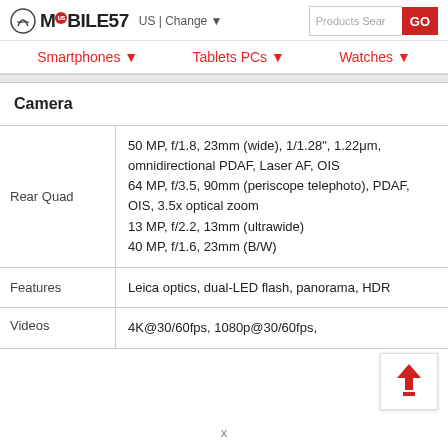MOBILE57 US | Change ▼
Smartphones ▼   Tablets PCs ▼   Watches ▼
| Camera |  |
| Rear Quad | 50 MP, f/1.8, 23mm (wide), 1/1.28", 1.22μm, omnidirectional PDAF, Laser AF, OIS
64 MP, f/3.5, 90mm (periscope telephoto), PDAF, OIS, 3.5x optical zoom
13 MP, f/2.2, 13mm (ultrawide)
40 MP, f/1.6, 23mm (B/W) |
| Features | Leica optics, dual-LED flash, panorama, HDR |
| Videos | 4K@30/60fps, 1080p@30/60fps, |